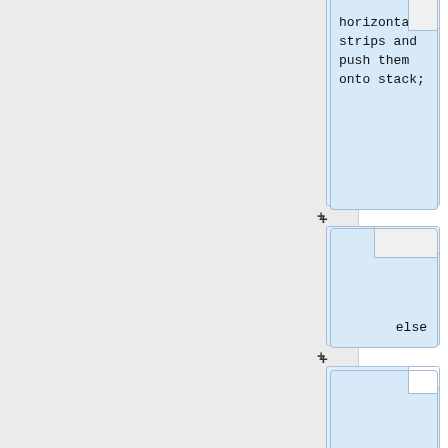[Figure (flowchart): Flowchart segment showing code blocks for algorithm steps: 'horizontal strips and push them onto stack;', 'else', 'split current cell into two horizontal subcells and push them onto stack;', 'break;' connected vertically with plus signs]
horizontal strips and push them onto stack;
else
split current cell into two horizontal subcells and push them onto stack;
break;